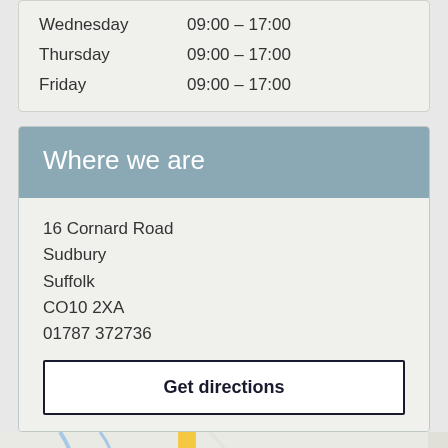| Day | Hours |
| --- | --- |
| Wednesday | 09:00 – 17:00 |
| Thursday | 09:00 – 17:00 |
| Friday | 09:00 – 17:00 |
Where we are
16 Cornard Road
Sudbury
Suffolk
CO10 2XA
01787 372736
Get directions
[Figure (map): Street map showing location near Sudbury with ALDI store visible, road A134 labeled]